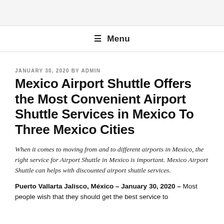≡ Menu
JANUARY 30, 2020 BY ADMIN
Mexico Airport Shuttle Offers the Most Convenient Airport Shuttle Services in Mexico To Three Mexico Cities
When it comes to moving from and to different airports in Mexico, the right service for Airport Shuttle in Mexico is important. Mexico Airport Shuttle can helps with discounted airport shuttle services.
Puerto Vallarta Jalisco, México – January 30, 2020 – Most people wish that they should get the best service to